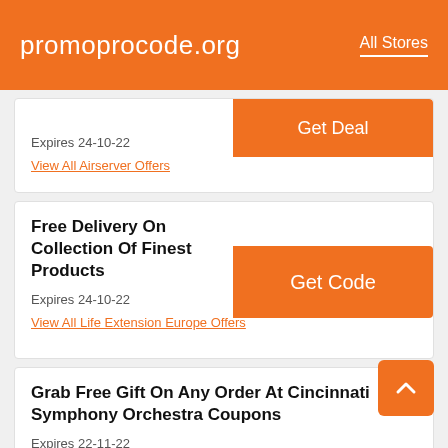promoprocode.org   All Stores
Expires 24-10-22
View All Airserver Offers
Free Delivery On Collection Of Finest Products
Get Code
Expires 24-10-22
View All Life Extension Europe Offers
Grab Free Gift On Any Order At Cincinnati Symphony Orchestra Coupons
Get Deal
Expires 22-11-22